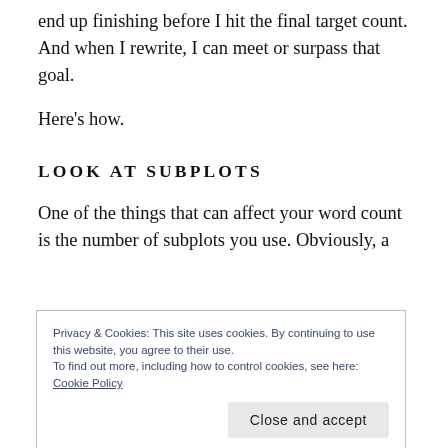end up finishing before I hit the final target count. And when I rewrite, I can meet or surpass that goal.
Here's how.
LOOK AT SUBPLOTS
One of the things that can affect your word count is the number of subplots you use. Obviously, a
Privacy & Cookies: This site uses cookies. By continuing to use this website, you agree to their use.
To find out more, including how to control cookies, see here: Cookie Policy
with more length, there is so, so much you can do